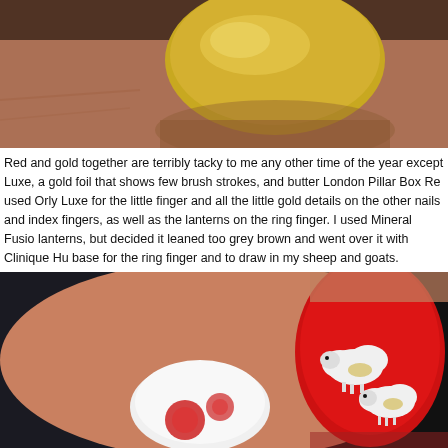[Figure (photo): Close-up photograph of a finger with a shiny gold metallic nail, against a dark background with skin tones visible.]
Red and gold together are terribly tacky to me any other time of the year except Luxe, a gold foil that shows few brush strokes, and butter London Pillar Box Re used Orly Luxe for the little finger and all the little gold details on the other nails and index fingers, as well as the lanterns on the ring finger. I used Mineral Fusio lanterns, but decided it leaned too grey brown and went over it with Clinique Hu base for the ring finger and to draw in my sheep and goats.
[Figure (photo): Close-up photograph of a hand with decorated nails featuring nail art — one nail is white with red circular designs, another is red with white fluffy sheep/goat figures with gold details — against a dark background.]